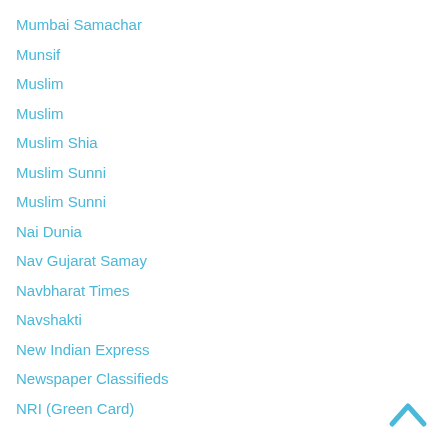Mumbai Samachar
Munsif
Muslim
Muslim
Muslim Shia
Muslim Sunni
Muslim Sunni
Nai Dunia
Nav Gujarat Samay
Navbharat Times
Navshakti
New Indian Express
Newspaper Classifieds
NRI (Green Card)